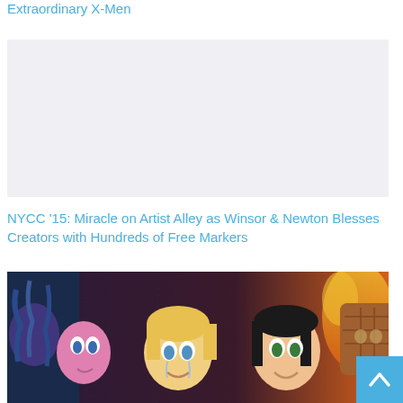Extraordinary X-Men
[Figure (other): Blank light gray placeholder image area]
NYCC '15: Miracle on Artist Alley as Winsor & Newton Blesses Creators with Hundreds of Free Markers
[Figure (illustration): Comic book cover image showing four superhero characters with dramatic expressions against a dark background with fire effects]